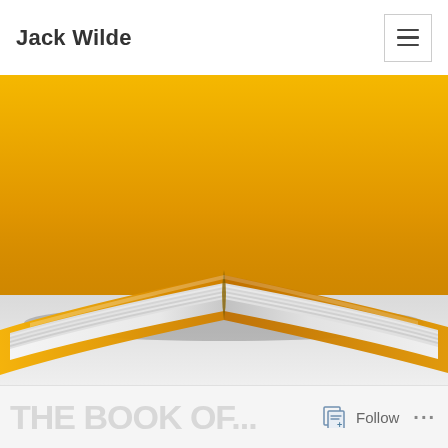Jack Wilde
[Figure (photo): An open book with yellow/orange cover photographed from the side on a white surface, showing the fanned pages and spine.]
Follow ...